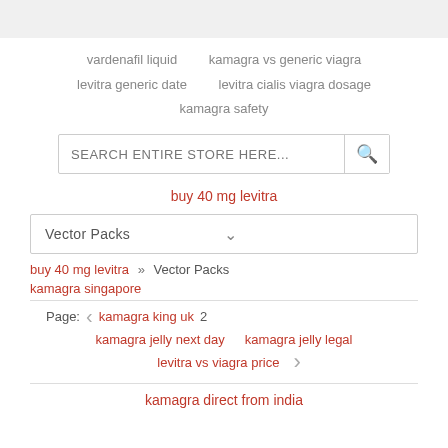vardenafil liquid   kamagra vs generic viagra
levitra generic date   levitra cialis viagra dosage
kamagra safety
SEARCH ENTIRE STORE HERE...
buy 40 mg levitra
Vector Packs
buy 40 mg levitra » Vector Packs
kamagra singapore
Page: < kamagra king uk 2
kamagra jelly next day   kamagra jelly legal
levitra vs viagra price >
kamagra direct from india